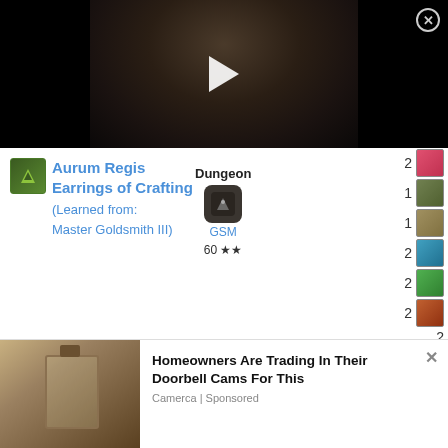[Figure (screenshot): Video player thumbnail showing dark fantasy character face with play button overlay and close (X) button in top-right]
Aurum Regis Earrings of Crafting (Learned from: Master Goldsmith III)
Dungeon  GSM  60 ★★
2
1
1
2
2
2
Aurum Regis Earrings of Gathering
2
1
1
Homeowners Are Trading In Their Doorbell Cams For This
Camerca | Sponsored